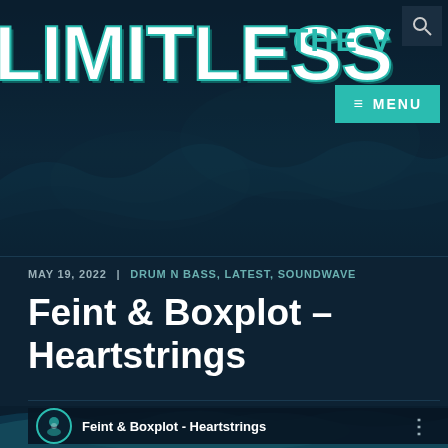LIMITLESS
THE V
≡ MENU
MAY 19, 2022 | DRUM N BASS, LATEST, SOUNDWAVE
Feint & Boxplot – Heartstrings
[Figure (screenshot): Music player bar showing 'Feint & Boxplot - Heartstrings' with a circular icon and three-dot menu]
[Figure (illustration): Ocean wave illustration with teal and blue tones forming the background of the website header and bottom section]